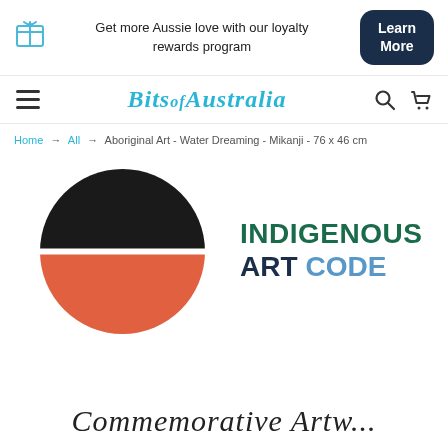Get more Aussie love with our loyalty rewards program — Learn More
Bits of Australia — navigation bar with hamburger menu, search, and cart icons
Home → All → Aboriginal Art - Water Dreaming - Mikanji - 76 x 46 cm
[Figure (logo): Indigenous Art Code logo: a circle split into black (top half) and terracotta/orange (bottom half), with 'INDIGENOUS ART CODE' text to the right in dark green and steel blue]
Cursive heading text (partially visible at bottom of page)